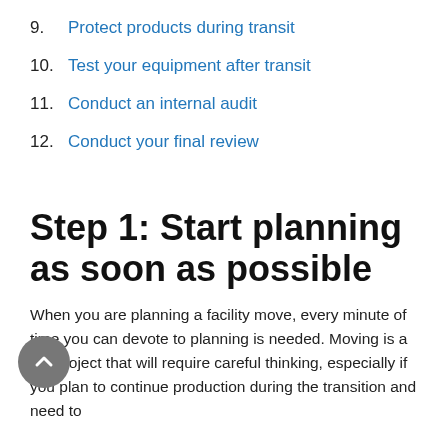9. Protect products during transit
10. Test your equipment after transit
11. Conduct an internal audit
12. Conduct your final review
Step 1: Start planning as soon as possible
When you are planning a facility move, every minute of time you can devote to planning is needed. Moving is a big project that will require careful thinking, especially if you plan to continue production during the transition and need to